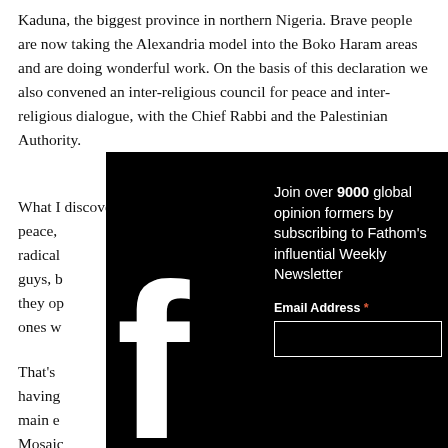Kaduna, the biggest province in northern Nigeria. Brave people are now taking the Alexandria model into the Boko Haram areas and are doing wonderful work. On the basis of this declaration we also convened an inter-religious council for peace and inter-religious dialogue, with the Chief Rabbi and the Palestinian Authority.
What I discovered was that if you really want to make religious peace, [text obscured by overlay] radical [text obscured] guys, b[text obscured] they o[text obscured] ones w[text obscured]
[Figure (infographic): Dark overlay popup with Facebook logo on the left and newsletter sign-up text on the right. Text reads: 'Join over 9000 global opinion formers by subscribing to Fathom's influential Weekly Newsletter'. Below is an Email Address field with a red asterisk and an empty input box. An X close button appears in the top-right corner of the overlay.]
That's [text obscured] having [text obscured] main e[text obscured] Mosaic[text obscured] that w[text obscured] Jerusal[text obscured]